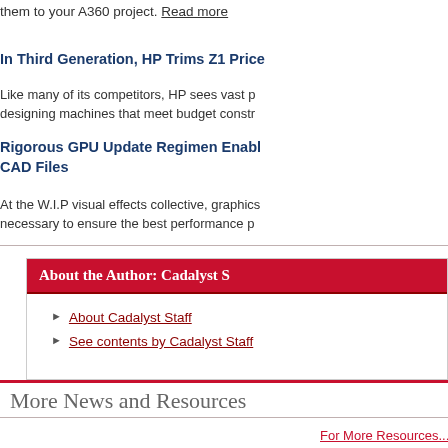them to your A360 project. Read more
In Third Generation, HP Trims Z1 Price
Like many of its competitors, HP sees vast p designing machines that meet budget constr
Rigorous GPU Update Regimen Enables CAD Files
At the W.I.P visual effects collective, graphics necessary to ensure the best performance p
About the Author: Cadalyst S
About Cadalyst Staff
See contents by Cadalyst Staff
More News and Resources
For More Resources...